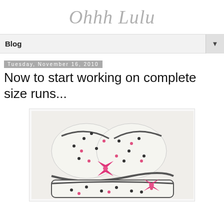Ohhh Lulu
Blog
Tuesday, November 16, 2010
Now to start working on complete size runs...
[Figure (photo): White polka dot lingerie set with pink bows and dark trim, photographed on a light background]